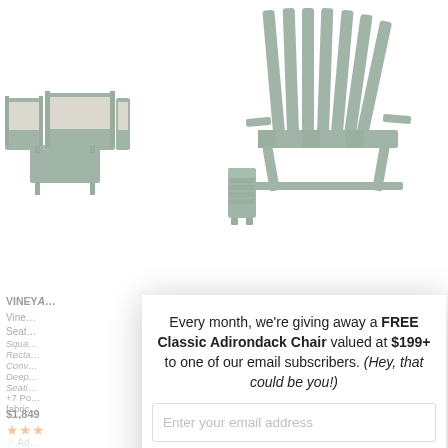[Figure (photo): Green outdoor patio furniture set (sofa, chairs, coffee table) with grey cushions on white background]
[Figure (photo): Green Adirondack chair and ottoman on white background]
VINEYA...
Vine...
Seat...
Squa... Recta... Conv... Deep... Seati...
+7 Po... fabric...
$1,849
★★★
☆ Ad...
□ Co...
Every month, we're giving away a FREE Classic Adirondack Chair valued at $199+ to one of our email subscribers. (Hey, that could be you!)
Enter your email address
SIGN ME UP!
One (1) winner will be selected at random at the end of every month and contacted by email. U.S. entrants only.